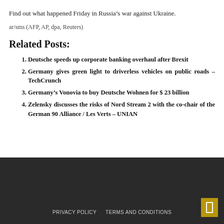Find out what happened Friday in Russia’s war against Ukraine.
ar/sms (AFP, AP, dpa, Reuters)
Related Posts:
Deutsche speeds up corporate banking overhaul after Brexit
Germany gives green light to driverless vehicles on public roads – TechCrunch
Germany’s Vonovia to buy Deutsche Wohnen for $ 23 billion
Zelensky discusses the risks of Nord Stream 2 with the co-chair of the German 90 Alliance / Les Verts – UNIAN
PRIVACY POLICY   TERMS AND CONDITIONS